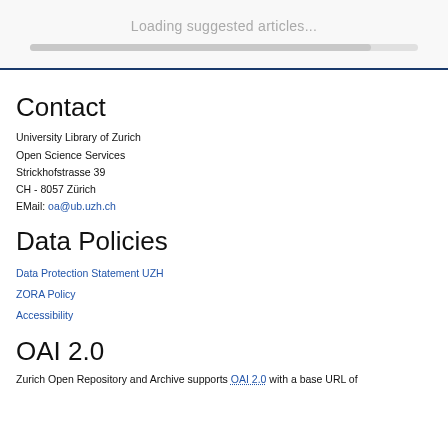Loading suggested articles...
Contact
University Library of Zurich
Open Science Services
Strickhofstrasse 39
CH - 8057 Zürich
EMail: oa@ub.uzh.ch
Data Policies
Data Protection Statement UZH
ZORA Policy
Accessibility
OAI 2.0
Zurich Open Repository and Archive supports OAI 2.0 with a base URL of